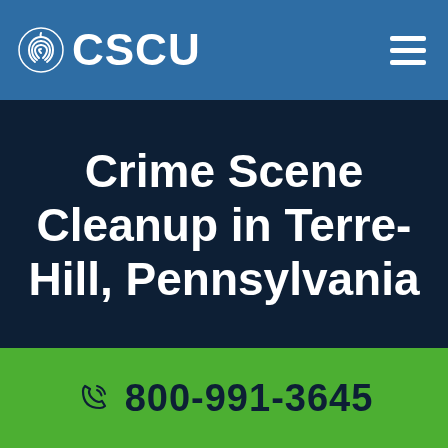CSCU
Crime Scene Cleanup in Terre-Hill, Pennsylvania
800-991-3645